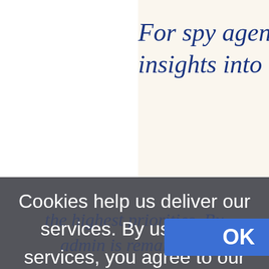For spy agencies, gaining insights into the intention
Cookies help us deliver our services. By using our services, you agree to our use of cookies. Learn more OK